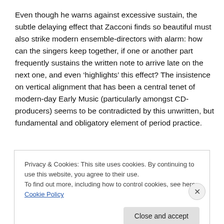Even though he warns against excessive sustain, the subtle delaying effect that Zacconi finds so beautiful must also strike modern ensemble-directors with alarm: how can the singers keep together, if one or another part frequently sustains the written note to arrive late on the next one, and even ‘highlights’ this effect? The insistence on vertical alignment that has been a central tenet of modern-day Early Music (particularly amongst CD-producers) seems to be contradicted by this unwritten, but fundamental and obligatory element of period practice.
Privacy & Cookies: This site uses cookies. By continuing to use this website, you agree to their use.
To find out more, including how to control cookies, see here: Cookie Policy